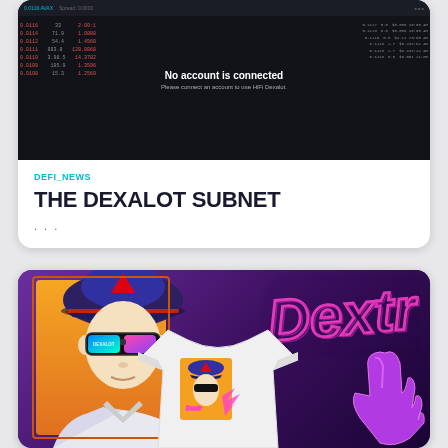[Figure (screenshot): Screenshot of Dexalot trading interface showing order book data with 'No account is connected' message and 'Please connect an account to use HiFi Dexalot' subtitle on dark background]
DEFI_NEWS
THE DEXALOT SUBNET
...
[Figure (illustration): Dextr character illustration - anime-style character wearing a baseball cap with Avalanche logo, Dexalot branded sunglasses, shown from shoulders up against orange background. A white t-shirt with the same character design is overlaid in the center. Purple/neon 'Dextr' graffiti text and stylized purple hand graphic on the right side against dark purple background.]